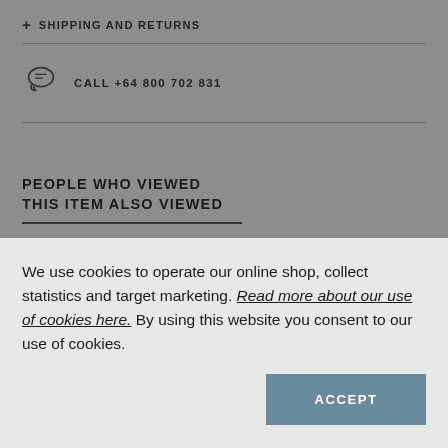+ SHIPPING AND RETURNS
CALL +64 800 702 831
PEOPLE WHO VIEWED THIS ITEM ALSO VIEWED
We use cookies to operate our online shop, collect statistics and target marketing. Read more about our use of cookies here. By using this website you consent to our use of cookies.
ACCEPT